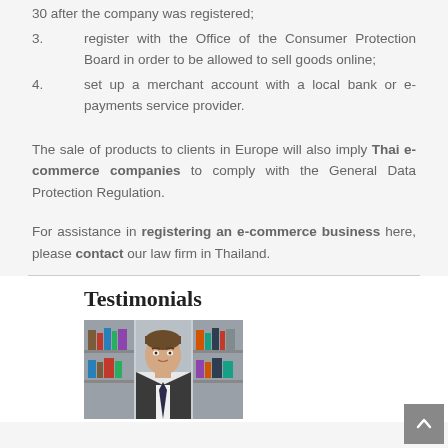30 after the company was registered;
3. register with the Office of the Consumer Protection Board in order to be allowed to sell goods online;
4. set up a merchant account with a local bank or e-payments service provider.
The sale of products to clients in Europe will also imply Thai e-commerce companies to comply with the General Data Protection Regulation.
For assistance in registering an e-commerce business here, please contact our law firm in Thailand.
Testimonials
[Figure (photo): Professional headshot of a man in a suit and tie, standing in front of a bookshelf]